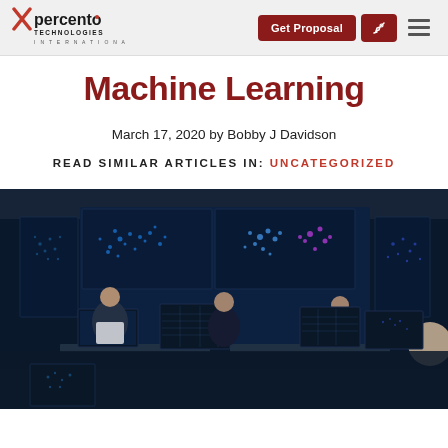Percento Technologies International | Get Proposal | navigation
Machine Learning
March 17, 2020 by Bobby J Davidson
READ SIMILAR ARTICLES IN: UNCATEGORIZED
[Figure (photo): Several people sitting at workstations with multiple monitors displaying data visualizations and machine learning cluster scatter plots, with large screens on the wall behind them showing colorful dot-cluster visualizations.]